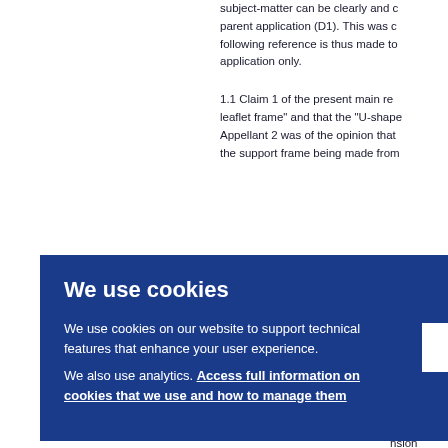subject-matter can be clearly and ... parent application (D1). This was c... following reference is thus made to... application only.
1.1 Claim 1 of the present main re... leaflet frame" and that the "U-shape... Appellant 2 was of the opinion that... the support frame being made from...
esen... red y... f the ... 1) de... l. Cla... me to... lank ... t stru... nsion... nsion...
[Figure (screenshot): Cookie consent banner with dark blue background. Title: 'We use cookies'. Body text: 'We use cookies on our website to support technical features that enhance your user experience. We also use analytics. Access full information on cookies that we use and how to manage them'. White OK button on the right.]